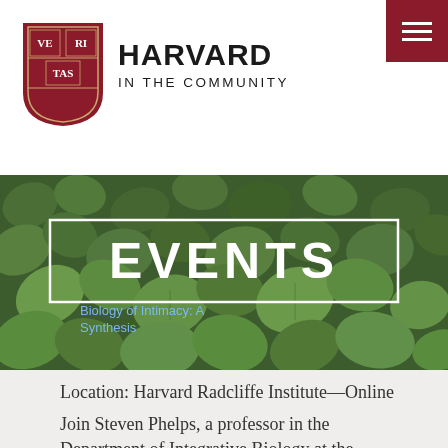[Figure (logo): Harvard 'Veritas' shield logo in crimson red with book motif]
HARVARD IN THE COMMUNITY
[Figure (photo): Background photo of green ivy leaves covering the surface]
EVENTS
Biology of Intimacy: A Synthesis
Location: Harvard Radcliffe Institute—Online
Join Steven Phelps, a professor in the Department of Integrative Biology at the University of Texas, Austin, for a discussion of his work